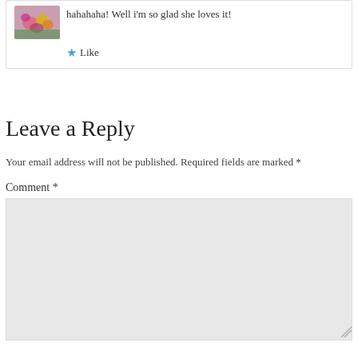hahahaha! Well i'm so glad she loves it!
★ Like
Leave a Reply
Your email address will not be published. Required fields are marked *
Comment *